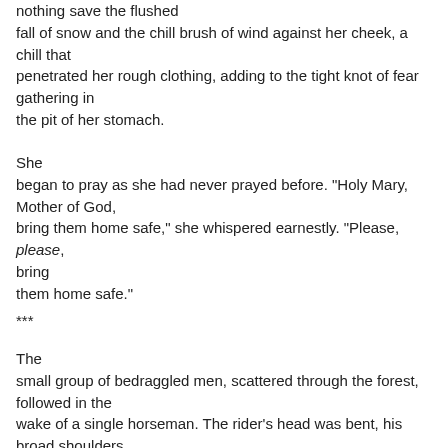nothing save the flushed fall of snow and the chill brush of wind against her cheek, a chill that penetrated her rough clothing, adding to the tight knot of fear gathering in the pit of her stomach.
She began to pray as she had never prayed before. "Holy Mary, Mother of God, bring them home safe," she whispered earnestly. "Please, please, bring them home safe."
***
The small group of bedraggled men, scattered through the forest, followed in the wake of a single horseman. The rider's head was bent, his broad shoulders